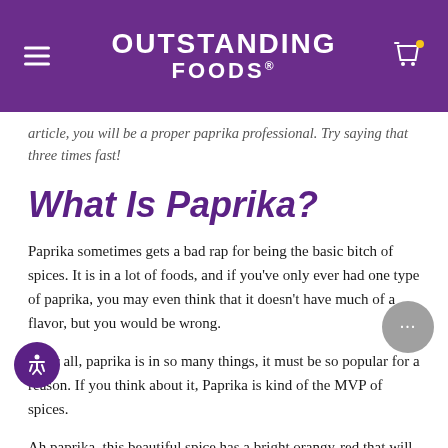OUTSTANDING FOODS
article, you will be a proper paprika professional. Try saying that three times fast!
What Is Paprika?
Paprika sometimes gets a bad rap for being the basic bitch of spices. It is in a lot of foods, and if you've only ever had one type of paprika, you may even think that it doesn't have much of a flavor, but you would be wrong.
After all, paprika is in so many things, it must be so popular for a reason. If you think about it, Paprika is kind of the MVP of spices.
Ah paprika, this beautiful spice has a bright orangy-re[d color] that will make any dish look like a million bucks.
In other words, it's gora! But paprika is so much more than its